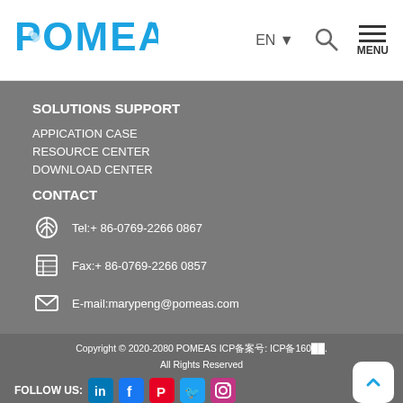[Figure (logo): POMEAS logo in blue with registered trademark symbol]
EN ▼
[Figure (other): Search icon and hamburger menu with MENU label]
SOLUTIONS SUPPORT
APPICATION CASE
RESOURCE CENTER
DOWNLOAD CENTER
CONTACT
Tel:+ 86-0769-2266 0867
Fax:+ 86-0769-2266 0857
E-mail:marypeng@pomeas.com
Copyright © 2020-2080 POMEAS ICP备案号: ICP备160.... All Rights Reserved
FOLLOW US: